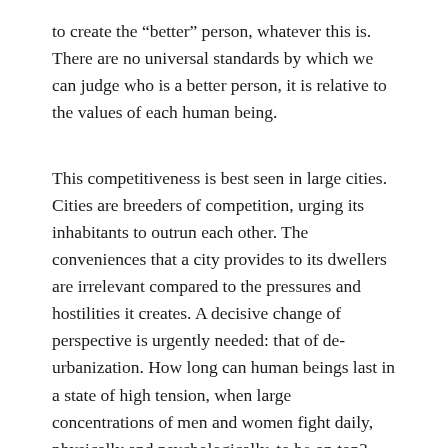to create the “better” person, whatever this is. There are no universal standards by which we can judge who is a better person, it is relative to the values of each human being.
This competitiveness is best seen in large cities. Cities are breeders of competition, urging its inhabitants to outrun each other. The conveniences that a city provides to its dwellers are irrelevant compared to the pressures and hostilities it creates. A decisive change of perspective is urgently needed: that of de-urbanization. How long can human beings last in a state of high tension, when large concentrations of men and women fight daily, physically and psychologically, to be on top? The greatest concern is, do they even know why they are bustling about?